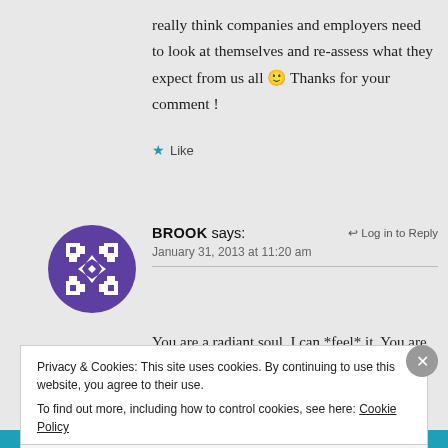really think companies and employers need to look at themselves and re-assess what they expect from us all 🙂 Thanks for your comment !
★ Like
[Figure (illustration): Circular avatar with purple and white geometric cross/maze pattern on dark purple background]
BROOK says:   ↩ Log in to Reply
January 31, 2013 at 11:20 am
You are a radiant soul. I can *feel* it. You are
Privacy & Cookies: This site uses cookies. By continuing to use this website, you agree to their use.
To find out more, including how to control cookies, see here: Cookie Policy
Close and accept